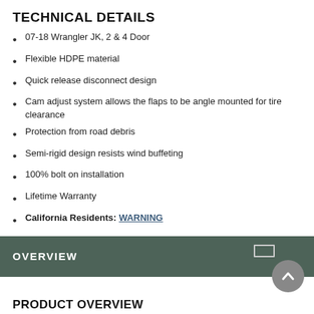TECHNICAL DETAILS
07-18 Wrangler JK, 2 & 4 Door
Flexible HDPE material
Quick release disconnect design
Cam adjust system allows the flaps to be angle mounted for tire clearance
Protection from road debris
Semi-rigid design resists wind buffeting
100% bolt on installation
Lifetime Warranty
California Residents: WARNING
OVERVIEW
PRODUCT OVERVIEW
The TeraFlex Transit mud flap kit's smooth contoured shape handles all road